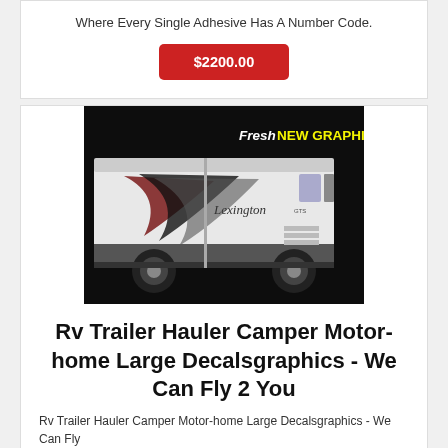Where Every Single Adhesive Has A Number Code.
$2200.00
[Figure (photo): Photo of an RV/motor-home (Lexington) with fresh new graphics decals applied, with text overlay reading 'Fresh NEW GRAPHICS' in yellow and white on black background]
Rv Trailer Hauler Camper Motor-home Large Decalsgraphics - We Can Fly 2 You
Rv Trailer Hauler Camper Motor-home Large Decalsgraphics - We Can Fly